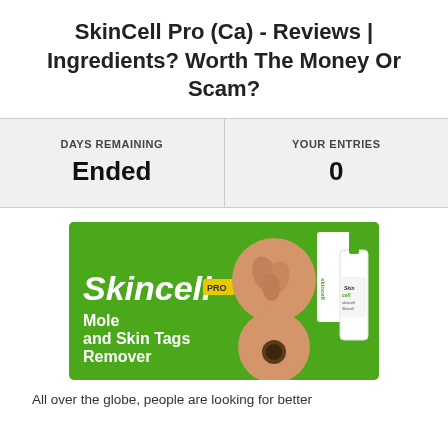SkinCell Pro (Ca) - Reviews | Ingredients? Worth The Money Or Scam?
| DAYS REMAINING | YOUR ENTRIES |
| --- | --- |
| Ended | 0 |
[Figure (illustration): Skincell Pro product advertisement image on green background showing the product bottle with dropper and circular skin close-up images. Text reads: Skincell PRO - Mole and Skin Tags Remover]
All over the globe, people are looking for better